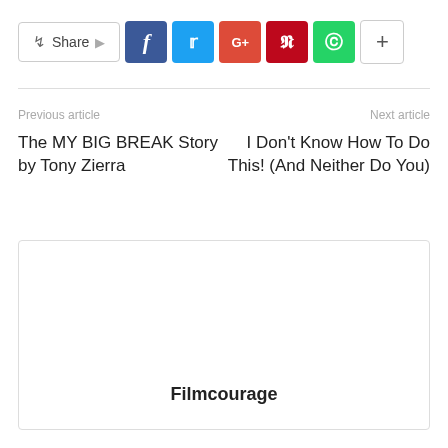[Figure (screenshot): Social share bar with Share button, Facebook, Twitter, Google+, Pinterest, WhatsApp, and more (+) buttons]
Previous article
Next article
The MY BIG BREAK Story by Tony Zierra
I Don't Know How To Do This! (And Neither Do You)
[Figure (other): Filmcourage branded box/widget with bold text 'Filmcourage' at bottom center]